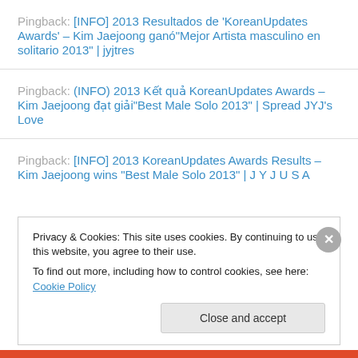Pingback: [INFO] 2013 Resultados de 'KoreanUpdates Awards' – Kim Jaejoong ganó"Mejor Artista masculino en solitario 2013" | jyjtres
Pingback: (INFO) 2013 Kết quả KoreanUpdates Awards – Kim Jaejoong đạt giải"Best Male Solo 2013" | Spread JYJ's Love
Pingback: [INFO] 2013 KoreanUpdates Awards Results – Kim Jaejoong wins "Best Male Solo 2013" | J Y J U S A
Privacy & Cookies: This site uses cookies. By continuing to use this website, you agree to their use. To find out more, including how to control cookies, see here: Cookie Policy